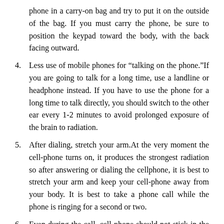(continuation) phone in a carry-on bag and try to put it on the outside of the bag. If you must carry the phone, be sure to position the keypad toward the body, with the back facing outward.
4. Less use of mobile phones for “talking on the phone.”If you are going to talk for a long time, use a landline or headphone instead. If you have to use the phone for a long time to talk directly, you should switch to the other ear every 1-2 minutes to avoid prolonged exposure of the brain to radiation.
5. After dialing, stretch your arm.At the very moment the cell-phone turns on, it produces the strongest radiation so after answering or dialing the cellphone, it is best to stretch your arm and keep your cell-phone away from your body. It is best to take a phone call while the phone is ringing for a second or two.
6. Even during the call, cell-phone should not stick in the ear. Ronald Haberman, Ph.D., director of the Institute of Cancer